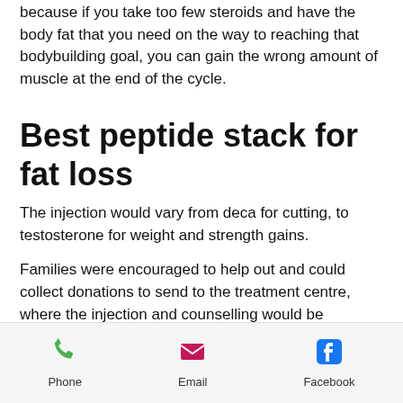because if you take too few steroids and have the body fat that you need on the way to reaching that bodybuilding goal, you can gain the wrong amount of muscle at the end of the cycle.
Best peptide stack for fat loss
The injection would vary from deca for cutting, to testosterone for weight and strength gains.
Families were encouraged to help out and could collect donations to send to the treatment centre, where the injection and counselling would be provided by trained professionals and a support group would
Phone   Email   Facebook